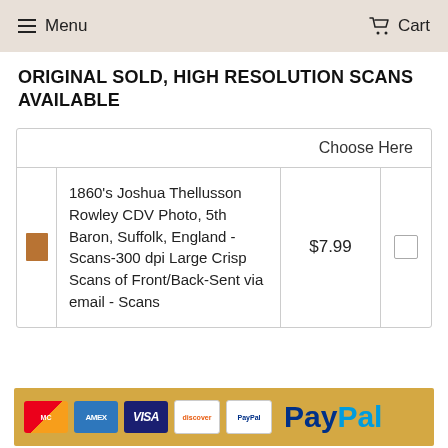Menu  Cart
ORIGINAL SOLD, HIGH RESOLUTION SCANS AVAILABLE
|  | Item | Price | Select |
| --- | --- | --- | --- |
|  | 1860's Joshua Thellusson Rowley CDV Photo, 5th Baron, Suffolk, England - Scans-300 dpi Large Crisp Scans of Front/Back-Sent via email - Scans | $7.99 |  |
[Figure (logo): PayPal payment accepted banner showing Mastercard, AMEX, VISA, Discover, PayPal logos on a golden background with PayPal text in blue and cyan]